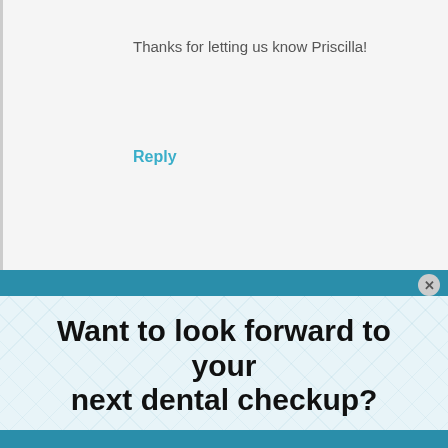Thanks for letting us know Priscilla!
Reply
Want to look forward to your next dental checkup?
Sign up to receive weekly oral hygiene gems. Impress your dentist by making cavities, bleeding gums, & sensitive teeth things of the past!
Enter your email here
Sign me up :)
We take your privacy very seriously and will never sell, trade, or abuse your information.